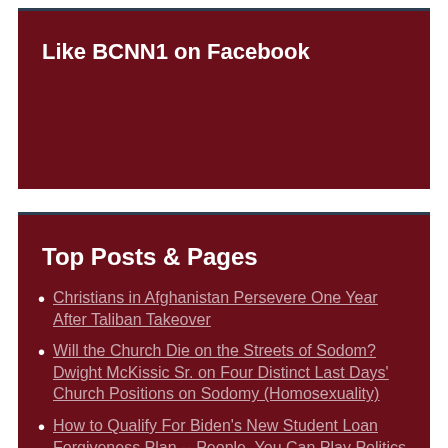Like BCNN1 on Facebook
Top Posts & Pages
Christians in Afghanistan Persevere One Year After Taliban Takeover
Will the Church Die on the Streets of Sodom? Dwight McKissic Sr. on Four Distinct Last Days' Church Positions on Sodomy (Homosexuality)
How to Qualify For Biden's New Student Loan Forgiveness Plan -- People, You Can Play Politics With This all You Want, But the Reality